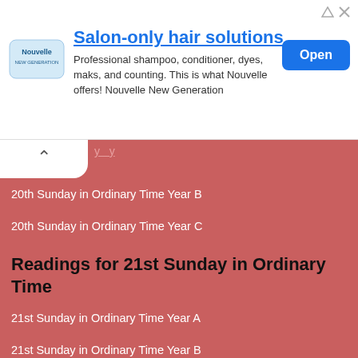[Figure (other): Advertisement banner for Nouvelle hair products with logo, title, description, and Open button]
20th Sunday in Ordinary Time Year B
20th Sunday in Ordinary Time Year C
Readings for 21st Sunday in Ordinary Time
21st Sunday in Ordinary Time Year A
21st Sunday in Ordinary Time Year B
21st Sunday in Ordinary Time Year C
Readings for 22nd Sunday in Ordinary